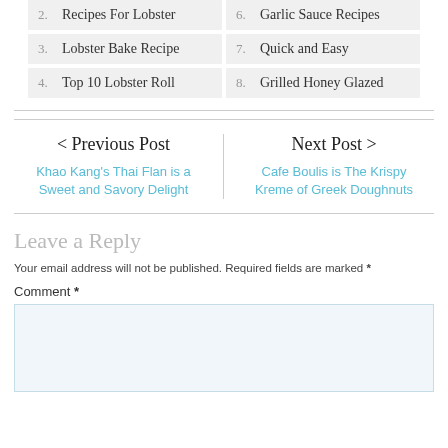2. Recipes For Lobster
6. Garlic Sauce Recipes
3. Lobster Bake Recipe
7. Quick and Easy
4. Top 10 Lobster Roll
8. Grilled Honey Glazed
< Previous Post
Khao Kang's Thai Flan is a Sweet and Savory Delight
Next Post >
Cafe Boulis is The Krispy Kreme of Greek Doughnuts
Leave a Reply
Your email address will not be published. Required fields are marked *
Comment *